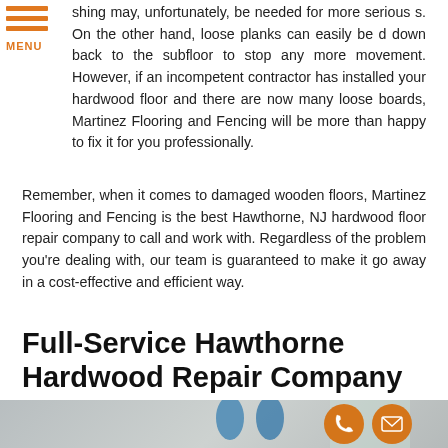[Figure (other): Hamburger menu icon with three orange horizontal lines and orange MENU text label]
shing may, unfortunately, be needed for more serious s. On the other hand, loose planks can easily be d down back to the subfloor to stop any more movement. However, if an incompetent contractor has installed your hardwood floor and there are now many loose boards, Martinez Flooring and Fencing will be more than happy to fix it for you professionally.
Remember, when it comes to damaged wooden floors, Martinez Flooring and Fencing is the best Hawthorne, NJ hardwood floor repair company to call and work with. Regardless of the problem you're dealing with, our team is guaranteed to make it go away in a cost-effective and efficient way.
Full-Service Hawthorne Hardwood Repair Company
[Figure (photo): Bottom portion of a room interior with pendant blue lamps visible near a window, with orange circular phone and mail contact icons overlaid on the right side]